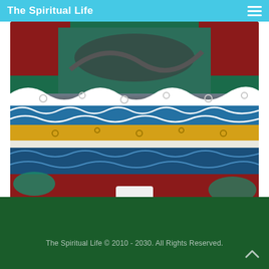The Spiritual Life
[Figure (photo): Colorful Chinese decorative painting featuring dragons, clouds with blue, yellow/gold, and white scrolling wave patterns against a red background with teal/green figures]
Chinese Mythology
The Spiritual Life © 2010 - 2030. All Rights Reserved.